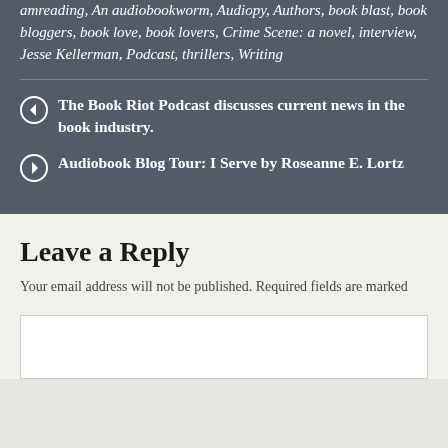amreading, An audiobookworm, Audiopy, Authors, book blast, book bloggers, book love, book lovers, Crime Scene: a novel, interview, Jesse Kellerman, Podcast, thrillers, Writing
The Book Riot Podcast discusses current news in the book industry.
Audiobook Blog Tour: I Serve by Roseanne E. Lortz
Leave a Reply
Your email address will not be published. Required fields are marked